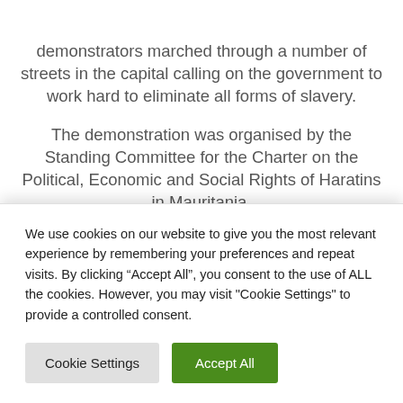demonstrators marched through a number of streets in the capital calling on the government to work hard to eliminate all forms of slavery.
The demonstration was organised by the Standing Committee for the Charter on the Political, Economic and Social Rights of Haratins in Mauritania.
Haratin are oasis-dwellers in the...
We use cookies on our website to give you the most relevant experience by remembering your preferences and repeat visits. By clicking “Accept All”, you consent to the use of ALL the cookies. However, you may visit "Cookie Settings" to provide a controlled consent.